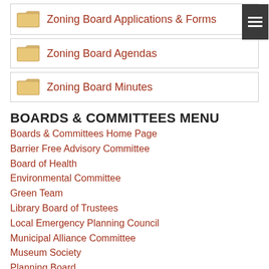Zoning Board Applications & Forms
Zoning Board Agendas
Zoning Board Minutes
BOARDS & COMMITTEES MENU
Boards & Committees Home Page
Barrier Free Advisory Committee
Board of Health
Environmental Committee
Green Team
Library Board of Trustees
Local Emergency Planning Council
Municipal Alliance Committee
Museum Society
Planning Board
Recreation Committee
Rent Leveling Board
Senior Citizens Committee